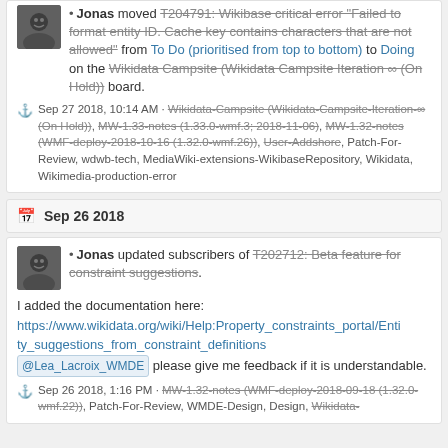Jonas moved T204791: Wikibase critical error "Failed to format entity ID. Cache key contains characters that are not allowed" from To Do (prioritised from top to bottom) to Doing on the Wikidata Campsite (Wikidata Campsite Iteration ∞ (On Hold)) board.
Sep 27 2018, 10:14 AM · Wikidata-Campsite (Wikidata-Campsite-Iteration-∞ (On Hold)), MW-1.33-notes (1.33.0-wmf.3; 2018-11-06), MW-1.32-notes (WMF-deploy-2018-10-16 (1.32.0-wmf.26)), User-Addshore, Patch-For-Review, wdwb-tech, MediaWiki-extensions-WikibaseRepository, Wikidata, Wikimedia-production-error
Sep 26 2018
Jonas updated subscribers of T202712: Beta feature for constraint suggestions.
I added the documentation here:
https://www.wikidata.org/wiki/Help:Property_constraints_portal/Entity_suggestions_from_constraint_definitions
@Lea_Lacroix_WMDE please give me feedback if it is understandable.
Sep 26 2018, 1:16 PM · MW-1.32-notes (WMF-deploy-2018-09-18 (1.32.0-wmf.22)), Patch-For-Review, WMDE-Design, Design, Wikidata-